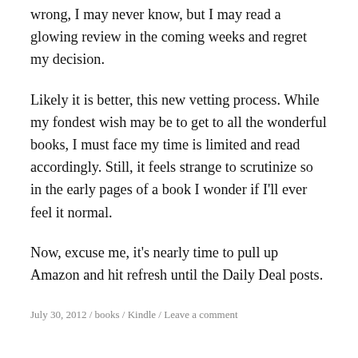wrong, I may never know, but I may read a glowing review in the coming weeks and regret my decision.
Likely it is better, this new vetting process. While my fondest wish may be to get to all the wonderful books, I must face my time is limited and read accordingly. Still, it feels strange to scrutinize so in the early pages of a book I wonder if I’ll ever feel it normal.
Now, excuse me, it’s nearly time to pull up Amazon and hit refresh until the Daily Deal posts.
July 30, 2012 / books / Kindle / Leave a comment